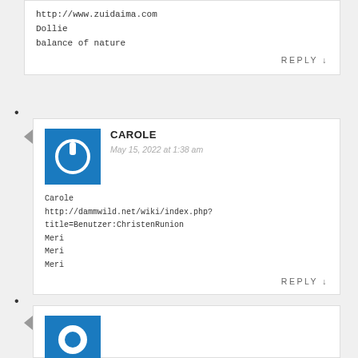http://www.zuidaima.com
Dollie
balance of nature
REPLY ↓
•
CAROLE
May 15, 2022 at 1:38 am
Carole
http://dammwild.net/wiki/index.php?title=Benutzer:ChristenRunion
Meri
Meri
Meri
REPLY ↓
•
[Figure (illustration): Blue avatar icon partial view at bottom]